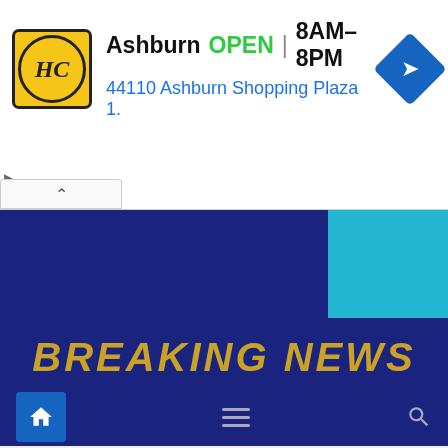[Figure (screenshot): Advertisement banner for a hardware/home center store in Ashburn, showing logo, OPEN status, hours 8AM-8PM, address 44110 Ashburn Shopping Plaza 1., and a navigation icon]
[Figure (screenshot): Breaking News banner with dark blue background, teal accent box, and gold italic bold text reading BREAKING NEWS]
[Figure (screenshot): Website navigation bar with home icon (highlighted blue), hamburger menu icon, and search icon on dark navy background]
Privacy & Cookies: This site uses cookies. By continuing to use this website, you agree to their use.
To find out more, including how to control cookies, see here: Cookie Policy
Close and accept